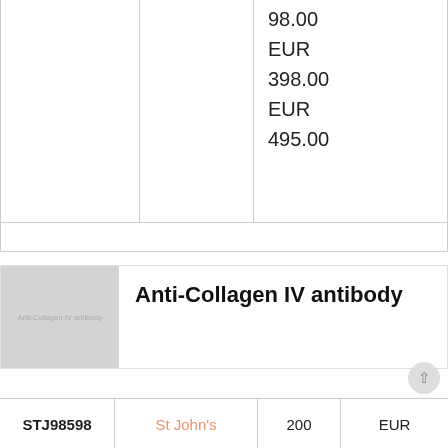|  |  | 98.00 |
|  |  | EUR |
|  |  | 398.00 |
|  |  | EUR |
|  |  | 495.00 |
[Figure (photo): Product placeholder image for Anti-Collagen IV antibody, grey rectangle with text label]
Anti-Collagen IV antibody
| STJ98598 | St John's | 200 | EUR |
| --- | --- | --- | --- |